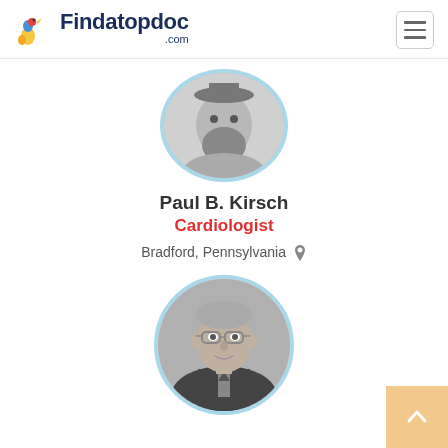Findatopdoc.com
[Figure (photo): Circular profile photo of a man with a beard, black and white, with a light blue circular border]
Paul B. Kirsch
Cardiologist
Bradford, Pennsylvania
[Figure (photo): Circular profile photo of an older man with glasses wearing a suit, black and white, with a light blue circular border]